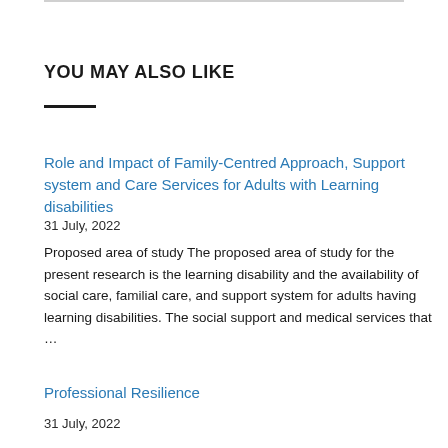YOU MAY ALSO LIKE
Role and Impact of Family-Centred Approach, Support system and Care Services for Adults with Learning disabilities
31 July, 2022
Proposed area of study The proposed area of study for the present research is the learning disability and the availability of social care, familial care, and support system for adults having learning disabilities. The social support and medical services that …
Professional Resilience
31 July, 2022